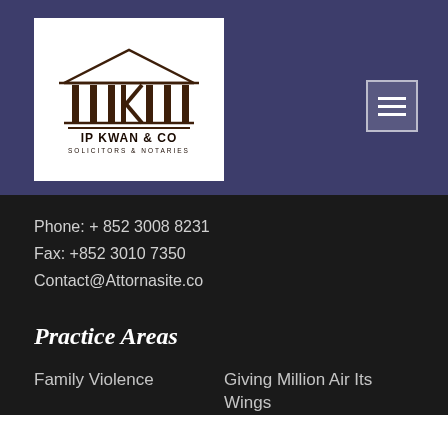[Figure (logo): IP Kwan & Co Solicitors & Notaries logo with classical building/columns icon above firm name text]
Phone: + 852 3008 8231
Fax: +852 3010 7350
Contact@Attornasite.co
Practice Areas
Family Violence
Giving Million Air Its Wings